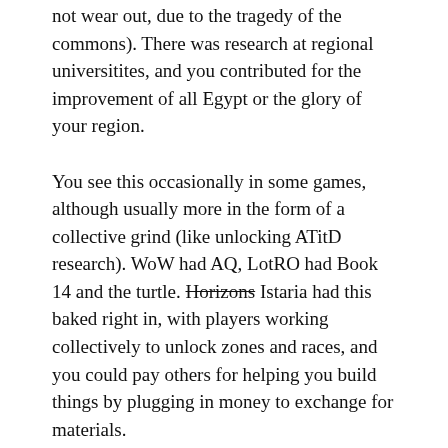not wear out, due to the tragedy of the commons). There was research at regional universitites, and you contributed for the improvement of all Egypt or the glory of your region.
You see this occasionally in some games, although usually more in the form of a collective grind (like unlocking ATitD research). WoW had AQ, LotRO had Book 14 and the turtle. Horizons Istaria had this baked right in, with players working collectively to unlock zones and races, and you could pay others for helping you build things by plugging in money to exchange for materials.
One thing I miss is project-specific guilds. Because you could be in multiple guilds, new guilds would form like corporations or subcommittees of the local civic association. The Nileside Cafe built a line of kitchens to help people perfect their gourmet skills